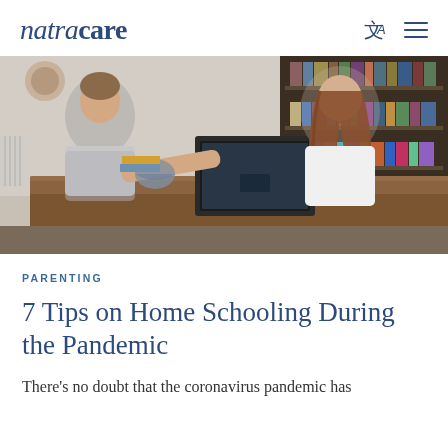natracare
[Figure (photo): Two children sitting across from each other at a wooden table. A boy on the left reaches across toward a laptop, while a girl on the right with long hair uses the laptop. Bookshelves are visible in the background.]
PARENTING
7 Tips on Home Schooling During the Pandemic
There's no doubt that the coronavirus pandemic has